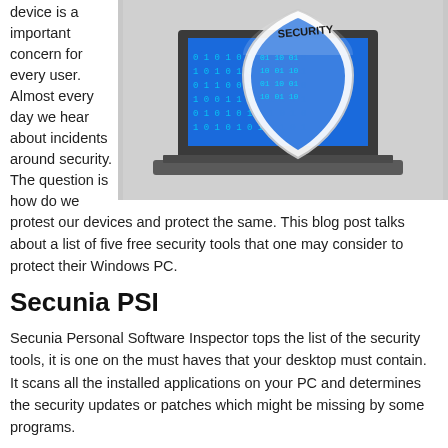device is a important concern for every user. Almost every day we hear about incidents around security. The question is how do we protest our devices and protect the same. This blog post talks about a list of five free security tools that one may consider to protect their Windows PC.
[Figure (illustration): A laptop computer with a security shield displaying binary digits (0s and 1s) and the word SECURITY on it, placed in front of the laptop screen.]
Secunia PSI
Secunia Personal Software Inspector tops the list of the security tools, it is one on the must haves that your desktop must contain. It scans all the installed applications on your PC and determines the security updates or patches which might be missing by some programs.